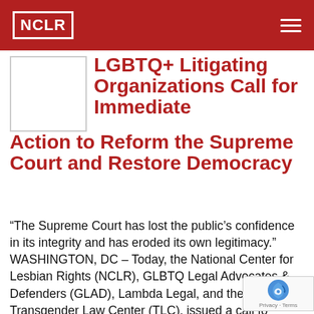NCLR
LGBTQ+ Litigating Organizations Call for Immediate Action to Reform the Supreme Court and Restore Democracy
“The Supreme Court has lost the public’s confidence in its integrity and has eroded its own legitimacy.” WASHINGTON, DC – Today, the National Center for Lesbian Rights (NCLR), GLBTQ Legal Advocates & Defenders (GLAD), Lambda Legal, and the Transgender Law Center (TLC), issued a call for immediate, essential reforms of the U.S. Supreme